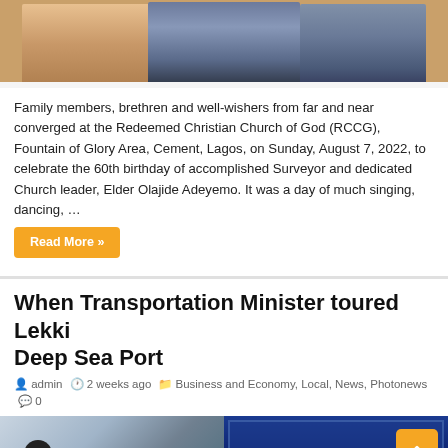[Figure (photo): Three people standing together indoors — two women in floral dress and grey outfit, one man in grey suit — at a birthday celebration event]
Family members, brethren and well-wishers from far and near converged at the Redeemed Christian Church of God (RCCG), Fountain of Glory Area, Cement, Lagos, on Sunday, August 7, 2022, to celebrate the 60th birthday of accomplished Surveyor and dedicated Church leader, Elder Olajide Adeyemo. It was a day of much singing, dancing, …
Read More »
When Transportation Minister toured Lekki Deep Sea Port
admin  2 weeks ago  Business and Economy, Local, News, Photonews  0
[Figure (photo): Two photos side by side — left shows an aerial or ground-level scene, right shows a blue shipping container or port structure at Lekki Deep Sea Port]